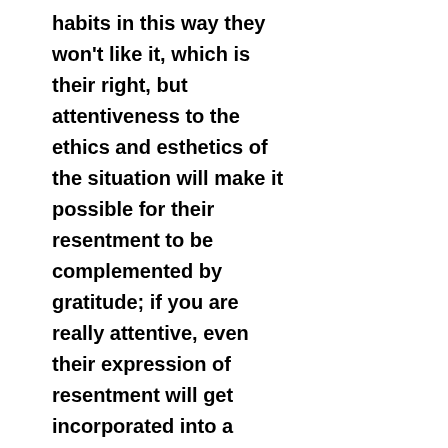habits in this way they won't like it, which is their right, but attentiveness to the ethics and esthetics of the situation will make it possible for their resentment to be complemented by gratitude; if you are really attentive, even their expression of resentment will get incorporated into a learning habit and once speaking about your habits becomes a habit then you won't want to